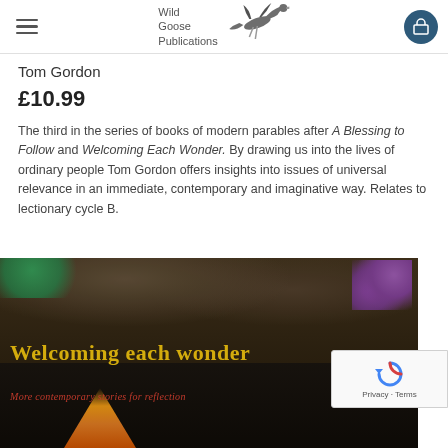Wild Goose Publications
Tom Gordon
£10.99
The third in the series of books of modern parables after A Blessing to Follow and Welcoming Each Wonder. By drawing us into the lives of ordinary people Tom Gordon offers insights into issues of universal relevance in an immediate, contemporary and imaginative way. Relates to lectionary cycle B.
[Figure (photo): Book cover image showing 'Welcoming each wonder - More contemporary stories for reflection' with a dark background featuring soil, purple flowers, green foliage, and orange/red flame-like plants. Title text in golden yellow, subtitle in red.]